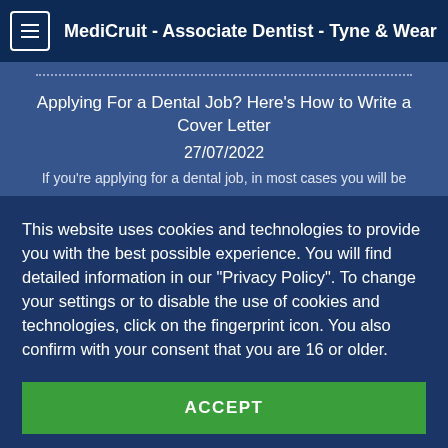MediCruit - Associate Dentist - Tyne & Wear
Applying For a Dental Job? Here's How to Write a Cover Letter
27/07/2022
If you're applying for a dental job, in most cases you will be
This website uses cookies and technologies to provide you with the best possible experience. You will find detailed information in our "Privacy Policy". To change your settings or to disable the use of cookies and technologies, click on the fingerprint icon. You also confirm with your consent that you are 16 or older.
ACCEPT
MORE